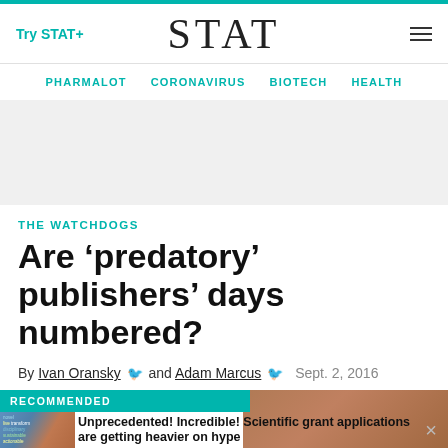Try STAT+  STAT  ☰
PHARMALOT  CORONAVIRUS  BIOTECH  HEALTH
[Figure (other): Gray advertisement placeholder area]
THE WATCHDOGS
Are ‘predatory’ publishers’ days numbered?
By Ivan Oransky 🐦 and Adam Marcus 🐦  Sept. 2, 2016
RECOMMENDED
[Figure (photo): Thumbnail image for recommended article with blue and brown tones]
Unprecedented! Incredible! Scientific grant applications are getting heavier on hype